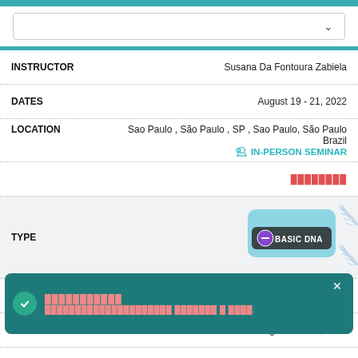[Figure (screenshot): Teal top bar and dropdown selection box with down arrow]
| Field | Value |
| --- | --- |
| INSTRUCTOR | Susana Da Fontoura Zabiela |
| DATES | August 19 - 21, 2022 |
| LOCATION | Sao Paulo , São Paulo , SP , Sao Paulo, São Paulo Brazil |
|  | IN-PERSON SEMINAR |
|  | [redacted] |
| TYPE | BASIC DNA |
| INSTRUCTOR | Andrea Braam |
| DATES | August 19 - 21, 2022 |
| LOCATION | ...elh...any... [partial] |
[Figure (infographic): Basic DNA badge with blue rounded rectangle and DNA helix graphic]
[Figure (screenshot): Dark teal notification popup with checkmark icon, redacted title text, redacted body text, and X close button]